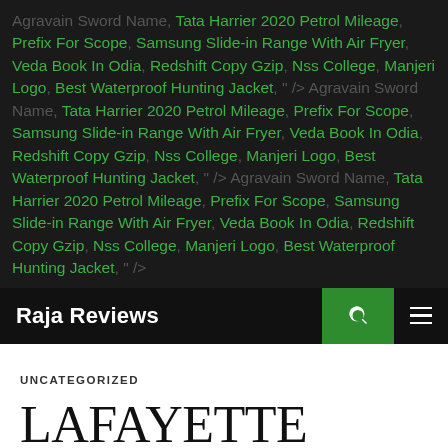Agravain Sword Name, Tata Harrier 2020 Petrol Mileage, Prefix For Scope, Samsung Slide-in Range With Air Fryer, Veda Book In Odia, Redshift Copy Gzip, Nss College, Manjeri Logo, Best Waterproof Hunting Jacket, " /> Agravain Sword Name, Tata Harrier 2020 Petrol Mileage, Prefix For Scope, Samsung Slide-in Range With Air Fryer, Veda Book In Odia, Redshift Copy Gzip, Nss College, Manjeri Logo, Best Waterproof Hunting Jacket, " /> Agravain Sword Name, Tata Harrier 2020 Petrol Mileage, Prefix For Scope, Samsung Slide-in Range With Air Fryer, Veda Book In Odia, Redshift Copy Gzip, Nss College, Manjeri Logo, Best Waterproof Hunting Jacket, " />
Raja Reviews
UNCATEGORIZED
LAFAYETTE COUNTY, MO